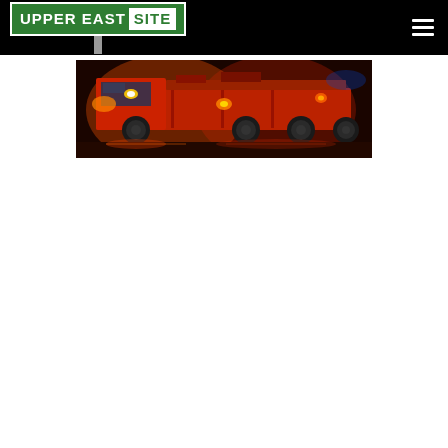Upper East Site — navigation header with logo and hamburger menu
[Figure (photo): Night scene photograph of a red FDNY fire truck with lights on, parked on a wet street at night with orange and red illumination reflecting off the pavement.]